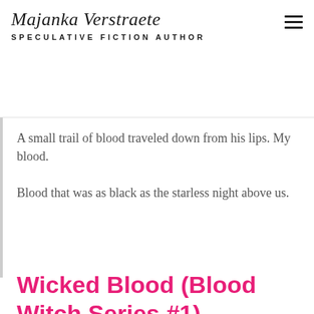Majanka Verstraete — SPECULATIVE FICTION AUTHOR
A small trail of blood traveled down from his lips. My blood.

Blood that was as black as the starless night above us.
Wicked Blood (Blood Witch Series #1)
[Figure (photo): Book cover of 'Wicked Blood' by Majanka Verstraete showing a dark atmospheric scene with a full moon, bare tree branches, and a dark-haired woman in the foreground. The author name 'MAJANKA VERSTRAETE' appears in red at the top of the cover.]